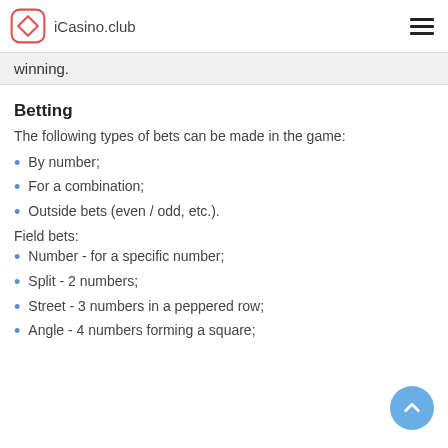iCasino.club
winning.
Betting
The following types of bets can be made in the game:
By number;
For a combination;
Outside bets (even / odd, etc.).
Field bets:
Number - for a specific number;
Split - 2 numbers;
Street - 3 numbers in a peppered row;
Angle - 4 numbers forming a square;